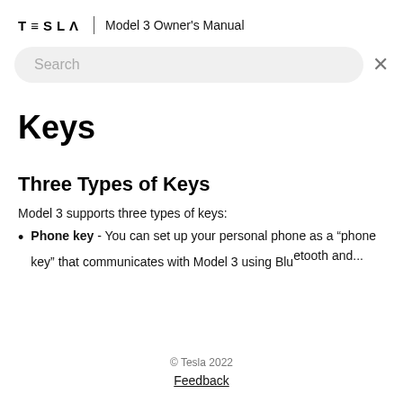TESLA | Model 3 Owner's Manual
[Figure (screenshot): Search bar with 'Search' placeholder text and an X close button on a light gray rounded background]
Keys
Three Types of Keys
Model 3 supports three types of keys:
Phone key - You can set up your personal phone as a "phone key" that communicates with Model 3 using Bluetooth and...
© Tesla 2022
Feedback